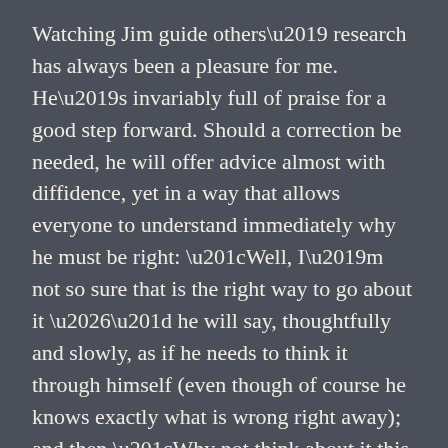Watching Jim guide others' research has always been a pleasure for me. He's invariably full of praise for a good step forward. Should a correction be needed, he will offer advice almost with diffidence, yet in a way that allows everyone to understand immediately why he must be right: “Well, I’m not so sure that is the right way to go about it …” he will say, thoughtfully and slowly, as if he needs to think it through himself (even though of course he knows exactly what is wrong right away); and then “Why not think about it this way …” He has mentored several of the top people in our field, and they all seem to inherit his exacting standards for their own work alongside a wonderfully cooperative